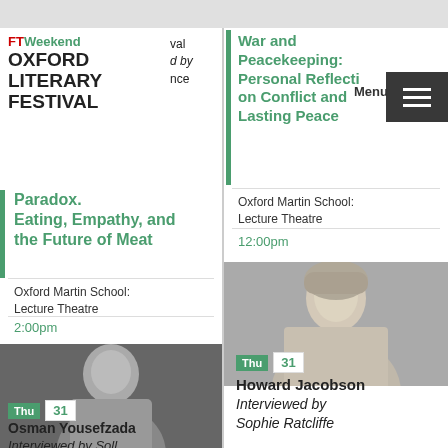[Figure (logo): FT Weekend Oxford Literary Festival logo]
val
d by
nce
Paradox. Eating, Empathy, and the Future of Meat
Oxford Martin School: Lecture Theatre
2:00pm
Hockday
War and Peacekeeping: Personal Reflection on Conflict and Lasting Peace
Menu
Oxford Martin School: Lecture Theatre
12:00pm
[Figure (photo): Black and white portrait photo of Osman Yousefzada]
Thu 31
Osman Yousefzada
Interviewed by Soll...
[Figure (photo): Photo of Howard Jacobson]
Thu 31
Howard Jacobson
Interviewed by
Sophie Ratcliffe